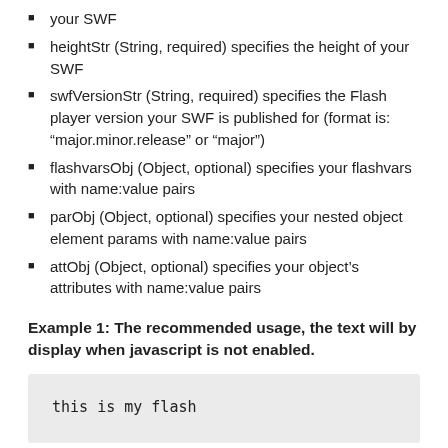your SWF
heightStr (String, required) specifies the height of your SWF
swfVersionStr (String, required) specifies the Flash player version your SWF is published for (format is: “major.minor.release” or “major”)
flashvarsObj (Object, optional) specifies your flashvars with name:value pairs
parObj (Object, optional) specifies your nested object element params with name:value pairs
attObj (Object, optional) specifies your object’s attributes with name:value pairs
Example 1: The recommended usage, the text will by display when javascript is not enabled.
this is my flash